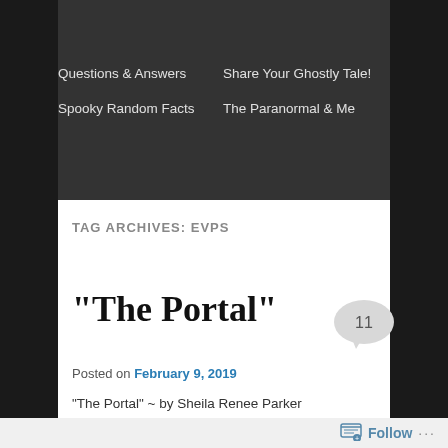Questions & Answers | Share Your Ghostly Tale! | Spooky Random Facts | The Paranormal & Me
TAG ARCHIVES: EVPS
“The Portal”
Posted on February 9, 2019
“The Portal” ~ by Sheila Renee Parker
Follow ...